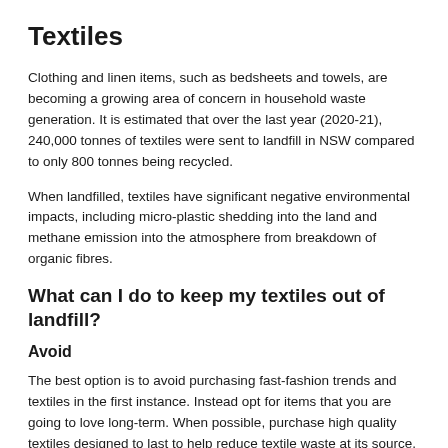Textiles
Clothing and linen items, such as bedsheets and towels, are becoming a growing area of concern in household waste generation. It is estimated that over the last year (2020-21), 240,000 tonnes of textiles were sent to landfill in NSW compared to only 800 tonnes being recycled.
When landfilled, textiles have significant negative environmental impacts, including micro-plastic shedding into the land and methane emission into the atmosphere from breakdown of organic fibres.
What can I do to keep my textiles out of landfill?
Avoid
The best option is to avoid purchasing fast-fashion trends and textiles in the first instance. Instead opt for items that you are going to love long-term. When possible, purchase high quality textiles designed to last to help reduce textile waste at its source.